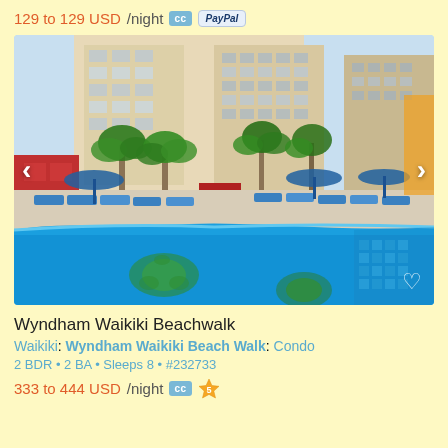129 to 129 USD/night  CC  PayPal
[Figure (photo): Outdoor pool area of Wyndham Waikiki hotel with blue lounge chairs, blue umbrellas, tropical palm trees, hotel building in background, and decorative turtle mosaic on pool floor]
Wyndham Waikiki Beachwalk
Waikiki: Wyndham Waikiki Beach Walk: Condo
2 BDR • 2 BA • Sleeps 8 • #232733
333 to 444 USD/night  CC  5 stars